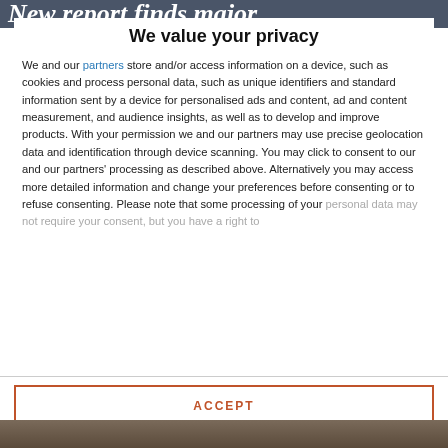New report finds  major
We value your privacy
We and our partners store and/or access information on a device, such as cookies and process personal data, such as unique identifiers and standard information sent by a device for personalised ads and content, ad and content measurement, and audience insights, as well as to develop and improve products. With your permission we and our partners may use precise geolocation data and identification through device scanning. You may click to consent to our and our partners' processing as described above. Alternatively you may access more detailed information and change your preferences before consenting or to refuse consenting. Please note that some processing of your personal data may not require your consent, but you have a right to
ACCEPT
MORE OPTIONS